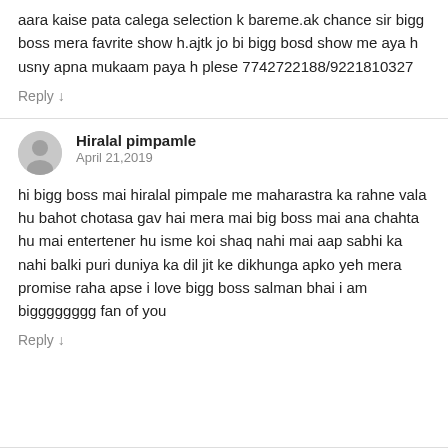aara kaise pata calega selection k bareme.ak chance sir bigg boss mera favrite show h.ajtk jo bi bigg bosd show me aya h usny apna mukaam paya h plese 7742722188/9221810327
Reply ↓
Hiralal pimpamle
April 21,2019
hi bigg boss mai hiralal pimpale me maharastra ka rahne vala hu bahot chotasa gav hai mera mai big boss mai ana chahta hu mai entertener hu isme koi shaq nahi mai aap sabhi ka nahi balki puri duniya ka dil jit ke dikhunga apko yeh mera promise raha apse i love bigg boss salman bhai i am bigggggggg fan of you
Reply ↓